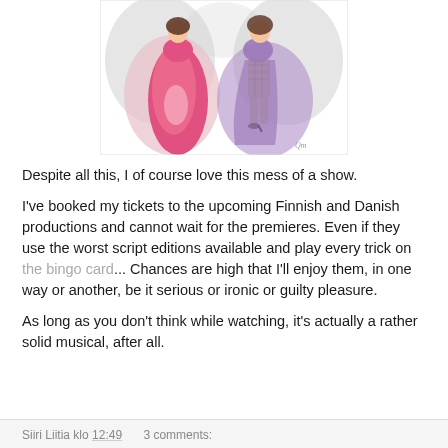[Figure (illustration): Fashion illustration of two figures in elaborate gowns — one in pink/red and one in purple/lavender — with feathered or draped capes, against a white background. A signature appears in the lower right corner.]
Despite all this, I of course love this mess of a show.
I've booked my tickets to the upcoming Finnish and Danish productions and cannot wait for the premieres. Even if they use the worst script editions available and play every trick on the bingo card... Chances are high that I'll enjoy them, in one way or another, be it serious or ironic or guilty pleasure.
As long as you don't think while watching, it's actually a rather solid musical, after all.
Siiri Liitia klo 12:49   3 comments: